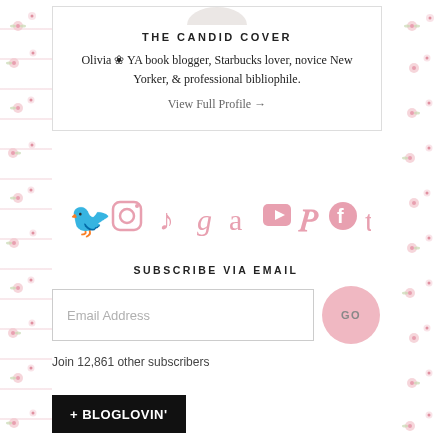THE CANDID COVER
Olivia ❀ YA book blogger, Starbucks lover, novice New Yorker, & professional bibliophile.
View Full Profile →
[Figure (infographic): Row of pink social media icons: Twitter, Instagram, TikTok, Goodreads, Amazon, YouTube, Pinterest, Facebook, Tumblr]
SUBSCRIBE VIA EMAIL
Email Address
Join 12,861 other subscribers
[Figure (logo): Bloglovin button: black rectangle with white text '+ BLOGLOVIN']